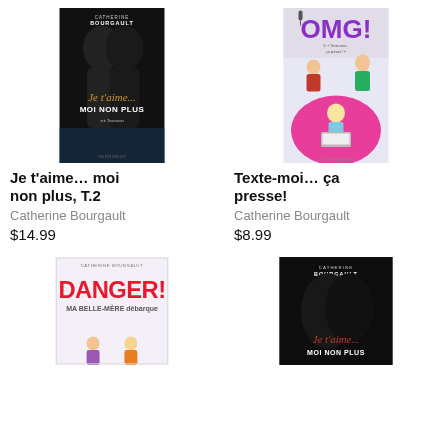[Figure (illustration): Book cover: Je t'aime... moi non plus, T.2 by Catherine Bourgault. Dark silhouette cover with gold cursive script.]
[Figure (illustration): Book cover: Texte-moi... ça presse! by Catherine Bourgault. OMG! series, illustrated teen romance cover with animated characters.]
Je t'aime… moi non plus, T.2
Catherine Bourgault
$14.99
Texte-moi… ça presse!
Catherine Bourgault
$8.99
[Figure (illustration): Book cover: DANGER! Ma belle-mère débarque by Catherine Bourgault. Pink illustrated teen cover.]
[Figure (illustration): Book cover: Je t'aime... moi non plus by Catherine Bourgault. Dark silhouette cover, partial view.]